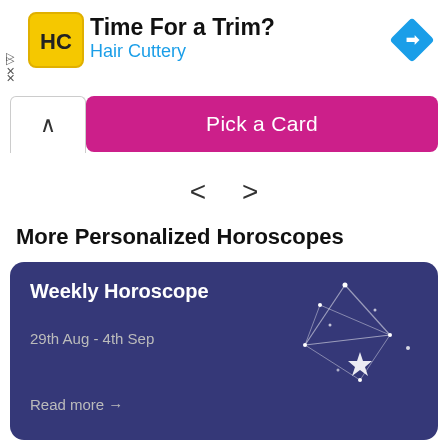[Figure (infographic): Hair Cuttery advertisement banner with logo, text 'Time For a Trim?' and 'Hair Cuttery', and a navigation arrow icon]
[Figure (screenshot): Pink 'Pick a Card' button with a white chevron-up tab on the left]
< >
More Personalized Horoscopes
[Figure (infographic): Weekly Horoscope card on dark blue-purple background with constellation/star illustration, text 'Weekly Horoscope', '29th Aug - 4th Sep', 'Read more →']